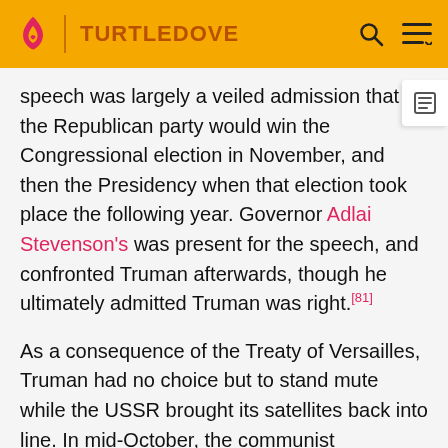TURTLEDOVE
speech was largely a veiled admission that the Republican party would win the Congressional election in November, and then the Presidency when that election took place the following year. Governor Adlai Stevenson's was present for the speech, and confronted Truman afterwards, though he ultimately admitted Truman was right.[81]
As a consequence of the Treaty of Versailles, Truman had no choice but to stand mute while the USSR brought its satellites back into line. In mid-October, the communist government of Poland promised an amnesty if Warsaw surrendered on 31 October 1952. However, the Red Army rolled in on 26 October. When Secretary Bradley informed